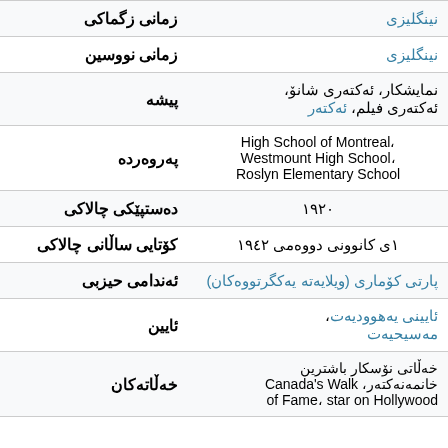| label | value |
| --- | --- |
| زمانی زگماکی | نینگلیزی |
| زمانی نووسین | نینگلیزی |
| پیشه | نمایشکار، ئەکتەری شانۆ، ئەکتەری فیلم، ئەکتەر |
| پەروەردە | High School of Montreal، Westmount High School، Roslyn Elementary School |
| دەستپێکی چالاکی | ١٩٢٠ |
| کۆتایی ساڵانی چالاکی | ١ی کانوونی دووەمی ١٩٤٢ |
| ئەندامی حیزبی | پارتی کۆماری (ویلایەتە یەکگرتووەکان) |
| ئایین | ئایینی یەهوودیەت، مەسیحیەت |
| خەڵاتەکان | خەڵاتی نۆسکار باشترین خانمەنەکتەر، Canada's Walk of Fame، star on Hollywood |